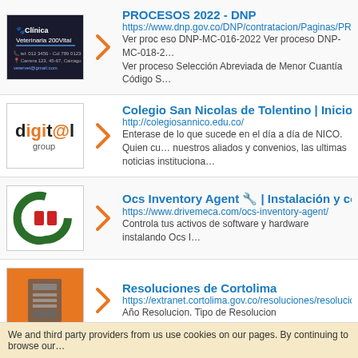[Figure (screenshot): Search result 1: Clinica Veterinaria 200Vital thumbnail (dark background with clinic logo)]
PROCESOS 2022 - DNP
https://www.dnp.gov.co/DNP/contratacion/Paginas/PROCE...
Ver proc eso DNP-MC-016-2022 Ver proceso DNP-MC-018-2...
Ver proceso Selección Abreviada de Menor Cuantía Código S...
[Figure (logo): digit@l group logo]
Colegio San Nicolas de Tolentino | Inicio
http://colegiosannico.edu.co/
Enterase de lo que sucede en el día a día de NICO. Quien cu... nuestros aliados y convenios, las ultimas noticias instituciona...
[Figure (logo): C logo with red and green colors]
Ocs Inventory Agent 🔧 | Instalación y configu...
https://www.drivemeca.com/ocs-inventory-agent/
Controla tus activos de software y hardware instalando Ocs I...
[Figure (photo): Orange background with printer/machine image]
Resoluciones de Cortolima
https://extranet.cortolima.gov.co/resoluciones/resoluciones
Año Resolucion. Tipo de Resolucion
We and third party providers from us use cookies on our pages. By continuing to browse our...